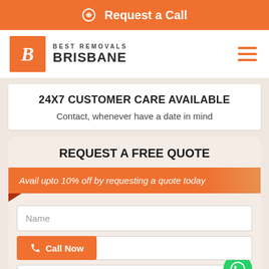Request a Call
[Figure (logo): Best Removals Brisbane logo with orange B box and text]
24X7 CUSTOMER CARE AVAILABLE
Contact, whenever have a date in mind
REQUEST A FREE QUOTE
Avail upto 10% off by requesting a quote today
Name
Call Now
Phone